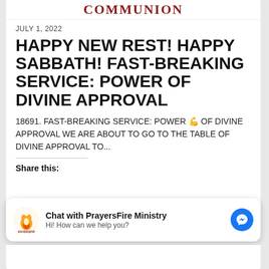COMMUNION
JULY 1, 2022
HAPPY NEW REST! HAPPY SABBATH! FAST-BREAKING SERVICE: POWER OF DIVINE APPROVAL
18691. FAST-BREAKING SERVICE: POWER 💪 OF DIVINE APPROVAL WE ARE ABOUT TO GO TO THE TABLE OF DIVINE APPROVAL TO...
Share this:
Chat with PrayersFire Ministry
Hi! How can we help you?